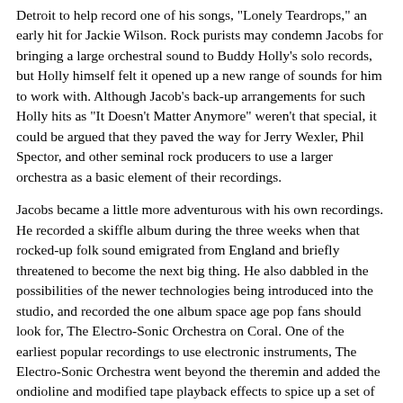Detroit to help record one of his songs, "Lonely Teardrops," an early hit for Jackie Wilson. Rock purists may condemn Jacobs for bringing a large orchestral sound to Buddy Holly's solo records, but Holly himself felt it opened up a new range of sounds for him to work with. Although Jacob's back-up arrangements for such Holly hits as "It Doesn't Matter Anymore" weren't that special, it could be argued that they paved the way for Jerry Wexler, Phil Spector, and other seminal rock producers to use a larger orchestra as a basic element of their recordings.
Jacobs became a little more adventurous with his own recordings. He recorded a skiffle album during the three weeks when that rocked-up folk sound emigrated from England and briefly threatened to become the next big thing. He also dabbled in the possibilities of the newer technologies being introduced into the studio, and recorded the one album space age pop fans should look for, The Electro-Sonic Orchestra on Coral. One of the earliest popular recordings to use electronic instruments, The Electro-Sonic Orchestra went beyond the theremin and added the ondioline and modified tape playback effects to spice up a set of pop standards.
By the early 1960s, Jacobs stopped performing and focused on behind-the-scenes work. He was one of Decca's house arranger/conductors, and worked with many of the label's acts